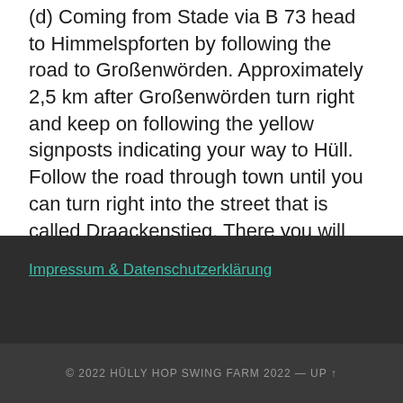(d) Coming from Stade via B 73 head to Himmelspforten by following the road to Großenwörden. Approximately 2,5 km after Großenwörden turn right and keep on following the yellow signposts indicating your way to Hüll. Follow the road through town until you can turn right into the street that is called Draackenstieg. There you will come across the signposts that will lead you to the ABC convention centre.
Impressum & Datenschutzerklärung
© 2022 HÜLLY HOP SWING FARM 2022 — UP ↑